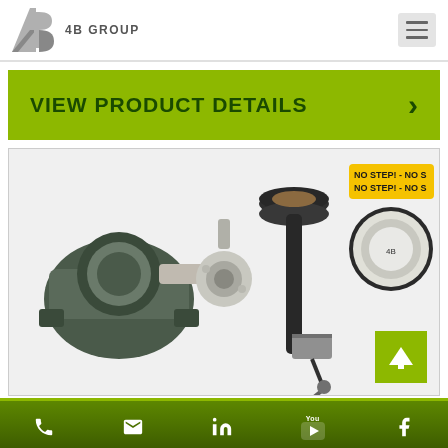[Figure (logo): 4B Group logo with stylized 4B letters and text '4B GROUP']
VIEW PRODUCT DETAILS
[Figure (photo): Industrial components including a pillow block bearing, a hub/coupler, a speed switch assembly with pulley, a proximity sensor bracket, and a circular gauge labeled NO STEP]
Phone | Email | LinkedIn | YouTube | Facebook